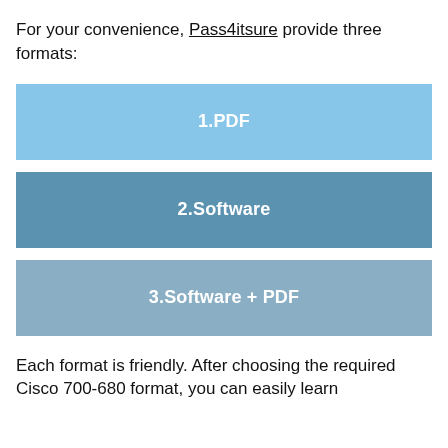For your convenience, Pass4itsure provide three formats:
[Figure (infographic): Three colored rectangular boxes labeled 1.PDF (light blue), 2.Software (medium blue), and 3.Software + PDF (muted blue-gray)]
Each format is friendly. After choosing the required Cisco 700-680 format, you can easily learn